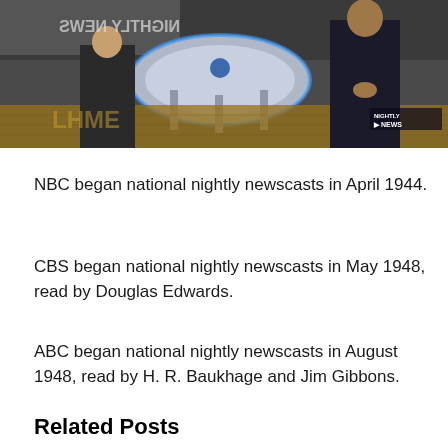[Figure (photo): Television news studio with anchors standing at a circular desk, NBC Nightly News branding visible in lower right corner. Blue lit set with wooden floor.]
NBC began national nightly newscasts in April 1944.
CBS began national nightly newscasts in May 1948, read by Douglas Edwards.
ABC began national nightly newscasts in August 1948, read by H. R. Baukhage and Jim Gibbons.
Related Posts